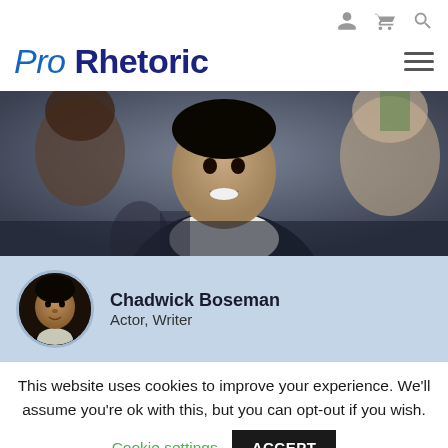Pro Rhetoric — navigation bar with user, cart, search icons and hamburger menu
[Figure (photo): A man in graduation regalia (white collar, dark gown) smiling, photographed at a commencement ceremony with other people in the background]
Chadwick Boseman
Actor, Writer
This website uses cookies to improve your experience. We'll assume you're ok with this, but you can opt-out if you wish.
Cookie settings   ACCEPT